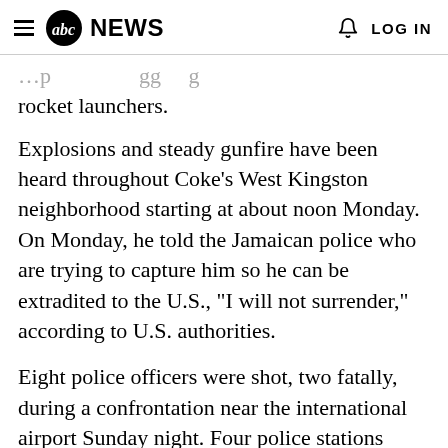abc NEWS  LOG IN
rocket launchers.
Explosions and steady gunfire have been heard throughout Coke's West Kingston neighborhood starting at about noon Monday. On Monday, he told the Jamaican police who are trying to capture him so he can be extradited to the U.S., "I will not surrender," according to U.S. authorities.
Eight police officers were shot, two fatally, during a confrontation near the international airport Sunday night. Four police stations were attacked Sunday, and one was burned to